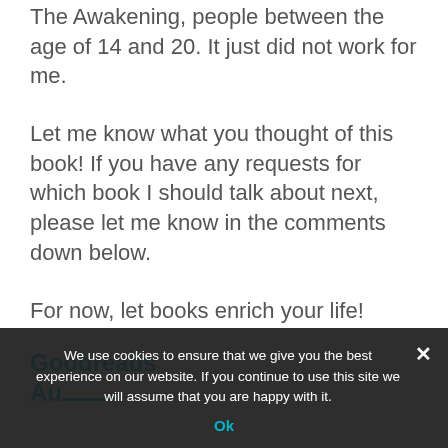The Awakening, people between the age of 14 and 20. It just did not work for me.
Let me know what you thought of this book! If you have any requests for which book I should talk about next, please let me know in the comments down below.
For now, let books enrich your life!
Goodreads
Author (partially visible)
We use cookies to ensure that we give you the best experience on our website. If you continue to use this site we will assume that you are happy with it.
Ok